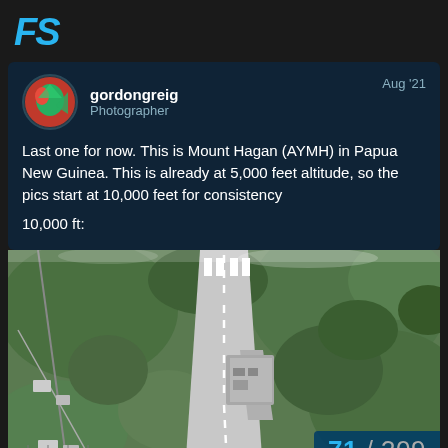FS
gordongreig
Photographer
Aug '21
Last one for now. This is Mount Hagan (AYMH) in Papua New Guinea. This is already at 5,000 feet altitude, so the pics start at 10,000 feet for consistency
10,000 ft:
[Figure (photo): Aerial screenshot from a flight simulator showing Mount Hagan airport (AYMH) in Papua New Guinea at 10,000 feet altitude. A runway is visible in the center with green terrain and surrounding landscape.]
71 / 309